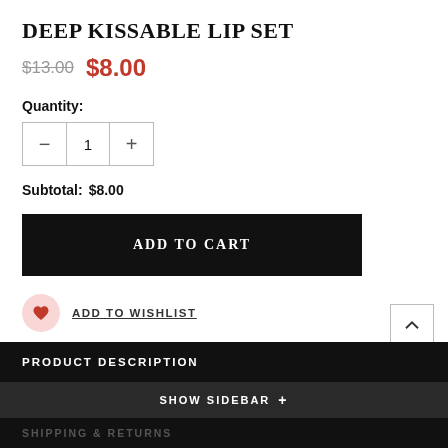DEEP KISSABLE LIP SET
$13.00  $8.00
Quantity:
1
Subtotal:  $8.00
ADD TO CART
ADD TO WISHLIST
PRODUCT DESCRIPTION
SHOW SIDEBAR +
SHIPPING & RETURNS